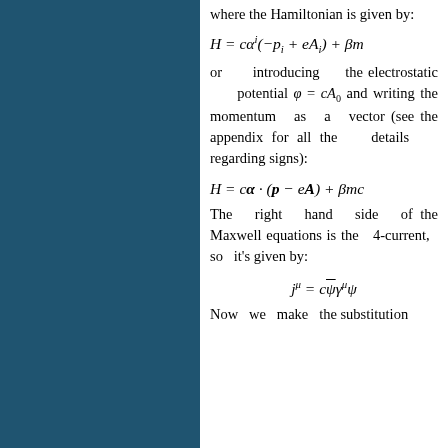where the Hamiltonian is given by:
or introducing the electrostatic potential φ = cA₀ and writing the momentum as a vector (see the appendix for all the details regarding signs):
The right hand side of the Maxwell equations is the 4-current, so it's given by:
Now we make the substitution